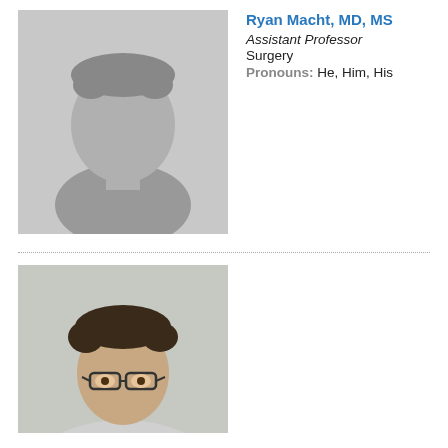[Figure (photo): Placeholder silhouette photo for Ryan Macht]
Ryan Macht, MD, MS
Assistant Professor
Surgery
Pronouns: He, Him, His
[Figure (photo): Headshot photo of a person with dark hair and glasses]